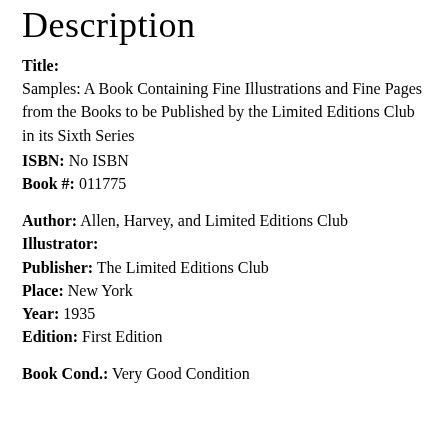Description
Title:
Samples: A Book Containing Fine Illustrations and Fine Pages from the Books to be Published by the Limited Editions Club in its Sixth Series
ISBN: No ISBN
Book #: 011775
Author: Allen, Harvey, and Limited Editions Club
Illustrator:
Publisher: The Limited Editions Club
Place: New York
Year: 1935
Edition: First Edition
Book Cond.: Very Good Condition